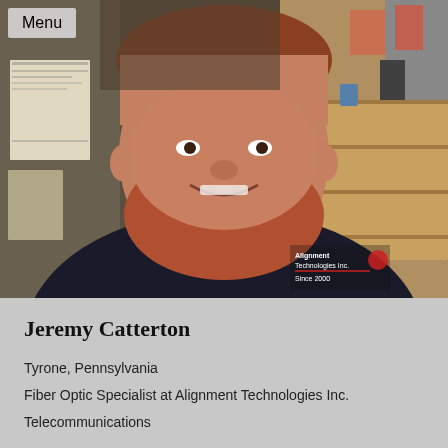[Figure (photo): A smiling man with red/brown beard wearing a dark navy/black t-shirt with 'Alignment Technologies Inc. Since 2000' logo. Background shows an indoor room with a wooden dresser, papers on a wall, and various items. A 'Menu' button overlay appears in the top-left corner.]
Jeremy Catterton
Tyrone, Pennsylvania
Fiber Optic Specialist at Alignment Technologies Inc.
Telecommunications